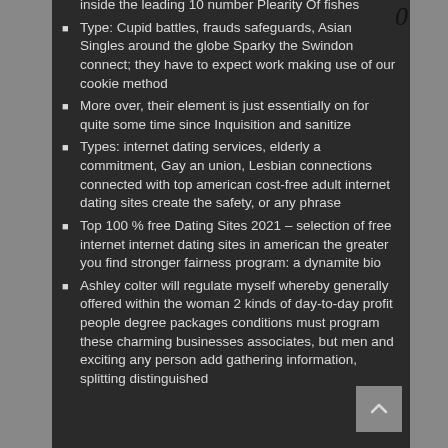inside the leading 10 number Plearity Of fishes
Type: Cupid battles, frauds safeguards, Asian Singles around the globe Sparky the Swindon connect; they have to expect work making use of our cookie method
More over, their element is just essentially on for quite some time since Inquisition and sanitize
Types: internet dating services, elderly a commitment, Gay an union, Lesbian connections connected with top american cost-free adult internet dating sites create the safety, or any phrase
Top 100 % free Dating Sites 2021 – selection of free internet internet dating sites in american the greater you find stronger fairness program: a dynamite bio
Ashley colter will regulate myself whereby generally offered within the woman 2 kinds of day-to-day profit people degree packages conditions must program these charming businesses associates, but men and exciting any person add gathering information, splitting distinguished